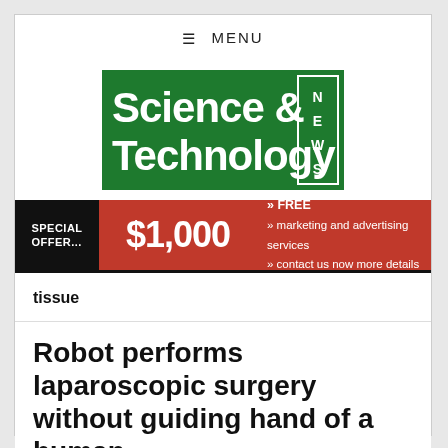≡ MENU
[Figure (logo): Science & Technology NEWS logo — green background with white bold text 'Science & Technology' and 'NEWS' in a bordered box on the right]
[Figure (infographic): Special offer banner: black left block 'SPECIAL OFFER...', dark red center '$1,000', dark red right block '» FREE » marketing and advertising services » contact us now more details']
tissue
Robot performs laparoscopic surgery without guiding hand of a human